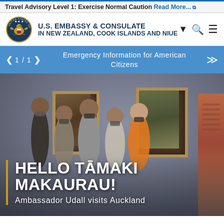Travel Advisory Level 1: Exercise Normal Caution Read More...
U.S. EMBASSY & CONSULATE IN NEW ZEALAND, COOK ISLANDS AND NIUE
1 / 1  Emergency Information for American Citizens
[Figure (photo): Group of people wearing masks standing in an art gallery/museum with paintings on the wall. Text overlay reads: HELLO TĀMAKI MAKAURAU! Ambassador Udall visits Auckland]
HELLO TĀMAKI MAKAURAU! Ambassador Udall visits Auckland